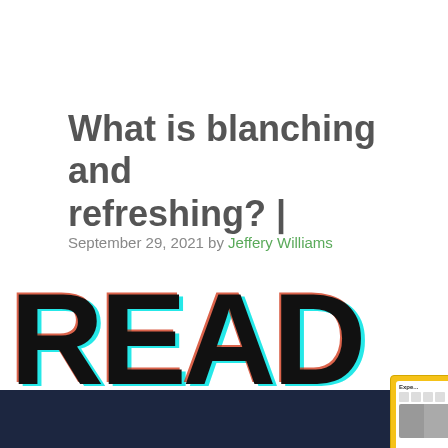What is blanching and refreshing? |
September 29, 2021 by Jeffery Williams
[Figure (photo): Large stylized 'READ' text with red and cyan chromatic aberration effect on white background, partially cut off. Below is a dark navy bar. An overlay shows a video player panel with 'THIS WEEK IN HISTORY' text and a play button, alongside a mobile app screenshot card with yellow border.]